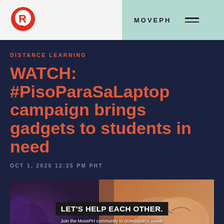MOVEPH
[Figure (logo): Rappler logo — red R with speech bubble circle]
DISTANCE LEARNING
WATCH: #PisoParaSaLaptop campaign brings gadgets to students in need
OCT 1, 2020 12:25 PM PHT
[Figure (photo): Promotional banner image with text 'LET'S HELP EACH OTHER.' and subtext 'Join the MovePH community to crowdsource needs and make helpinghan work.' overlaid on a photo of hands joined together, with purple decorative elements on the left.]